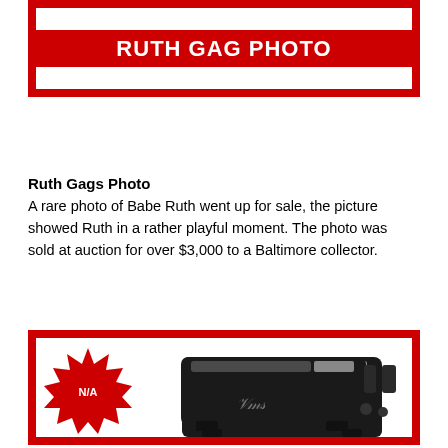RUTH GAG PHOTO
Ruth Gags Photo
A rare photo of Babe Ruth went up for sale, the picture showed Ruth in a rather playful moment. The photo was sold at auction for over $3,000 to a Baltimore collector.
[Figure (photo): Card frame with N/A starburst badge and a black toaster with signature]